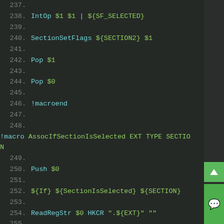[Figure (screenshot): Code editor screenshot showing NSIS macro script lines 237-257, dark theme with teal/green syntax highlighting. Lines include: 237 (empty), 238 IntOp $1 $1 | ${SF_SELECTED}, 239 (empty), 240 SectionSetFlags ${SECTION2} $1, 241 (empty), 242 Pop $1, 243 (empty), 244 Pop $0, 245 (empty), 246 !macroend, 247 (empty), 248 !macro AssocIfSectionIsSelected EXT TYPE SECTION, 249 (empty), 250 Push $0, 251 (empty), 252 ${If} ${SectionIsSelected} ${SECTION}, 253 (empty), 254 ReadRegStr $0 HKCR ".${EXT}" "", 255 (empty), 256 ${If} $0 != "Winamp.File", 257 (empty). Sidebar with green scroll/chat buttons on the right.]